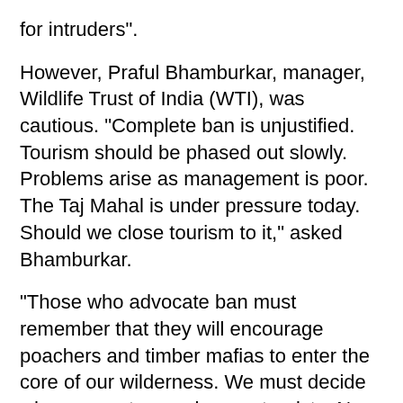for intruders".
However, Praful Bhamburkar, manager, Wildlife Trust of India (WTI), was cautious. "Complete ban is unjustified. Tourism should be phased out slowly. Problems arise as management is poor. The Taj Mahal is under pressure today. Should we close tourism to it," asked Bhamburkar.
"Those who advocate ban must remember that they will encourage poachers and timber mafias to enter the core of our wilderness. We must decide who we want - poachers or tourists. No longer can we rest on the laurels of our forest department. The debacle and extinction of tigers in Sariska and Panna reveal the horrors of bad governance," said Nishikant Mukherjee, a conservationist who works with Baiga tribals in Kanha.